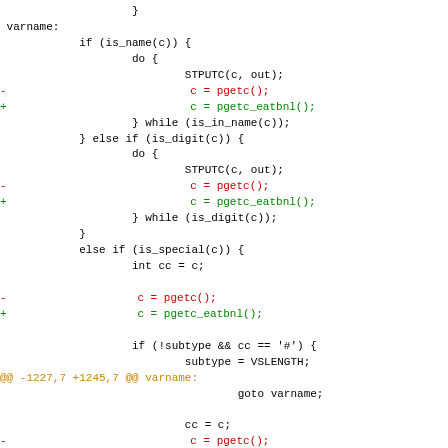Code diff showing changes to a C source file with varname label, showing modifications to pgetc() calls being replaced with pgetc_eatbnl() calls.